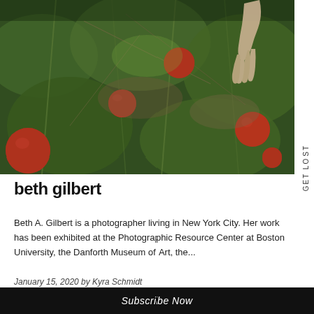[Figure (photo): Close-up photograph of red tomatoes on the vine growing among tangled green and dry stems, with a hand reaching in from the upper right.]
beth gilbert
Beth A. Gilbert is a photographer living in New York City. Her work has been exhibited at the Photographic Resource Center at Boston University, the Danforth Museum of Art, the...
January 15, 2020 by Kyra Schmidt
Subscribe Now